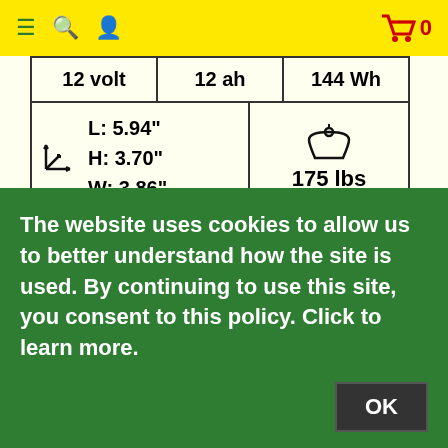≡ 🔍 👤   🛒 0
| 12 volt | 12 ah | 144 Wh |
| L: 5.94"
H: 3.70"
W: 3.86" | 175 lbs |
The BGH-12120F2 is a high quality 12 volt 12 Ah Rechargeable Sealed Lead Acid High Rate battery offering exceptional value for money. (Set of Twenty
The website uses cookies to allow us to better understand how the site is used. By continuing to use this site, you consent to this policy. Click to learn more.